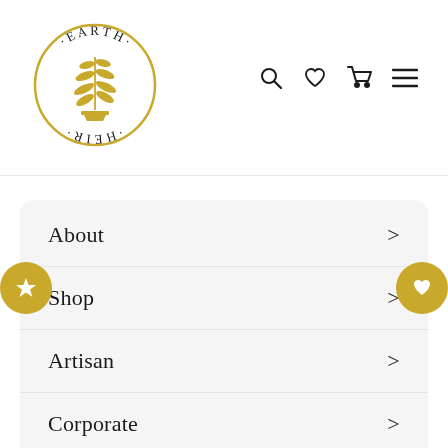[Figure (logo): Earth Heir circular logo with gold fern plant in center, text EARTH HEIR arranged in a circle around it, gold circle border]
[Figure (illustration): Navigation icons: search (magnifying glass), heart/wishlist, shopping cart, hamburger menu]
About >
Shop >
Artisan >
Corporate >
WARIS REWARDS >